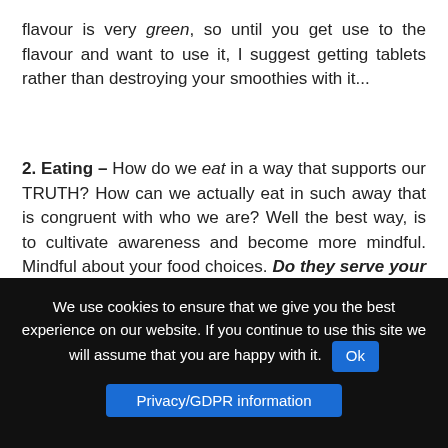flavour is very green, so until you get use to the flavour and want to use it, I suggest getting tablets rather than destroying your smoothies with it...
2. Eating – How do we eat in a way that supports our TRUTH? How can we actually eat in such away that is congruent with who we are? Well the best way, is to cultivate awareness and become more mindful. Mindful about your food choices. Do they serve your needs and your health? Mindful when you eat; let all your senses be fully present and engaged in the experience. This will allow you to enjoy your meal in a whole different way, giving you more pleasure and
We use cookies to ensure that we give you the best experience on our website. If you continue to use this site we will assume that you are happy with it. Ok
Privacy/GDPR information